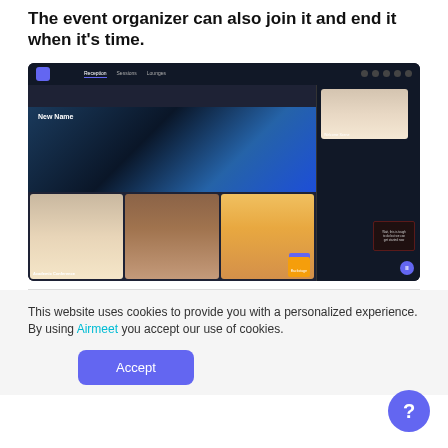The event organizer can also join it and end it when it's time.
[Figure (screenshot): Screenshot of the Airmeet platform showing an Academic Conference event with video participants visible in a dark-themed UI with a navigation bar and banner image.]
This website uses cookies to provide you with a personalized experience. By using Airmeet you accept our use of cookies.
Accept